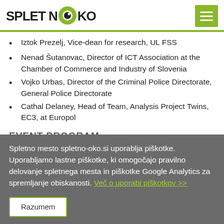SPLETNO KO
Iztok Prezelj, Vice-dean for research, UL FSS
Nenad Šutanovac, Director of ICT Association at the Chamber of Commerce and Industry of Slovenia
Vojko Urbas, Director of the Criminal Police Directorate, General Police Directorate
Cathal Delaney, Head of Team, Analysis Project Twins, EC3, at Europol
EVENT PROGRAM
Spletno mesto spletno-oko.si uporablja piškotke. Uporabljamo lastne piškotke, ki omogočajo pravilno delovanje spletnega mesta in piškotke Google Analytics za spremljanje obiskanosti. Več o uporabi piškotkov >>
Razumem